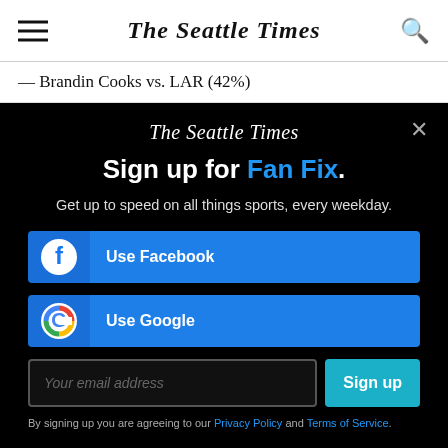The Seattle Times
— Brandin Cooks vs. LAR (42%)
[Figure (screenshot): Modal overlay on The Seattle Times website prompting users to sign up for Fan Fix newsletter. Contains logo, headline 'Sign up for Fan Fix.', subtext, Facebook button, Google button, email input, Sign up button, and legal text.]
By signing up you are agreeing to our Privacy Policy and Terms of Service.